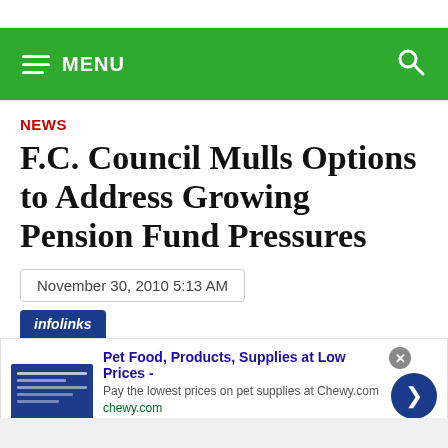MENU
NEWS
F.C. Council Mulls Options to Address Growing Pension Fund Pressures
November 30, 2010 5:13 AM
[Figure (screenshot): Advertisement banner for Chewy.com - Pet Food, Products, Supplies at Low Prices]
infolinks